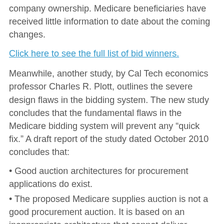company ownership. Medicare beneficiaries have received little information to date about the coming changes.
Click here to see the full list of bid winners.
Meanwhile, another study, by Cal Tech economics professor Charles R. Plott, outlines the severe design flaws in the bidding system. The new study concludes that the fundamental flaws in the Medicare bidding system will prevent any “quick fix.” A draft report of the study dated October 2010 concludes that:
• Good auction architectures for procurement applications do exist.
• The proposed Medicare supplies auction is not a good procurement auction. It is based on an inappropriate architecture that cannot deliver services at competitive rates and qualities.
• The Medicare supplies auction architecture cannot be adjusted in some simple way. There is no “quick fix”. The two central pillars of the auction are flawed. First, the price determination by the median accepted bid is not an